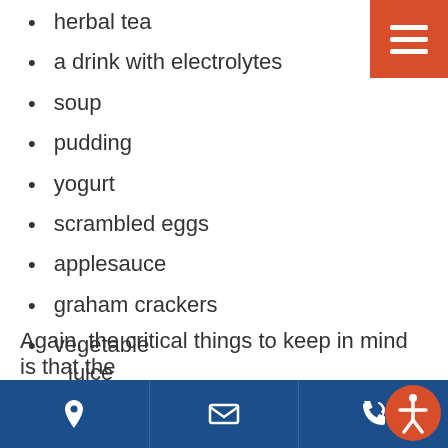herbal tea
a drink with electrolytes
soup
pudding
yogurt
scrambled eggs
applesauce
graham crackers
vegetable juice
Again, the critical things to keep in mind is that the
Location | Email | Phone | Accessibility